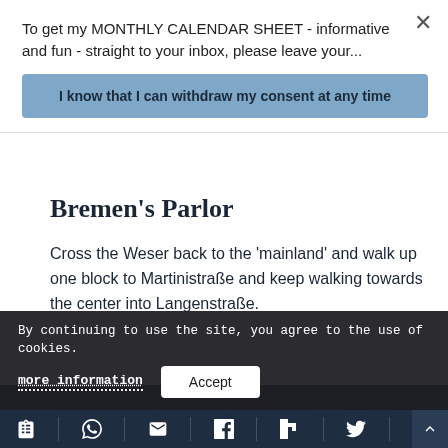To get my MONTHLY CALENDAR SHEET - informative and fun - straight to your inbox, please leave your...
I know that I can withdraw my consent at any time
Bremen’s Parlor
Cross the Weser back to the ‘mainland’ and walk up one block to Martinistraße and keep walking towards the center into Langenstraße.
[Figure (photo): Dark photograph of an old building or cityscape, partially visible at bottom of page]
By continuing to use the site, you agree to the use of cookies.
more information
Accept